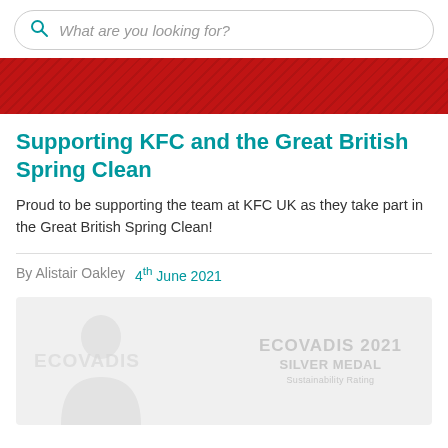[Figure (screenshot): Search bar with magnifying glass icon and placeholder text 'What are you looking for?']
[Figure (photo): Red textured banner image]
Supporting KFC and the Great British Spring Clean
Proud to be supporting the team at KFC UK as they take part in the Great British Spring Clean!
By Alistair Oakley   4th June 2021
[Figure (logo): EcoVadis 2021 Silver Medal logo/badge on light grey background]